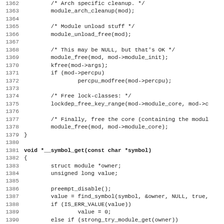[Figure (other): Source code listing in C, lines 1362-1394, showing module cleanup and __symbol_get function implementation]